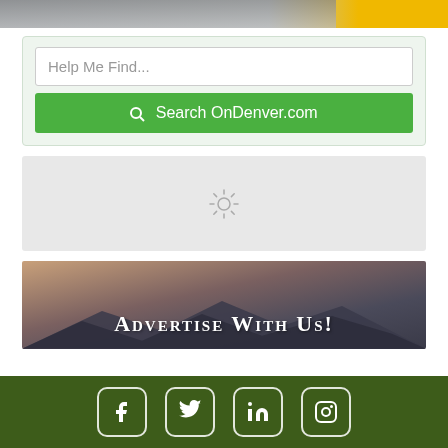[Figure (photo): Top banner image with gray photo and yellow accent on right]
[Figure (screenshot): Search box with 'Help Me Find...' placeholder and green 'Search OnDenver.com' button on light green background]
[Figure (other): Loading spinner icon on gray background]
[Figure (photo): Advertise With Us banner with mountain silhouette and gradient background]
[Figure (other): Green social media bar with Facebook, Twitter, LinkedIn, and Instagram icons]